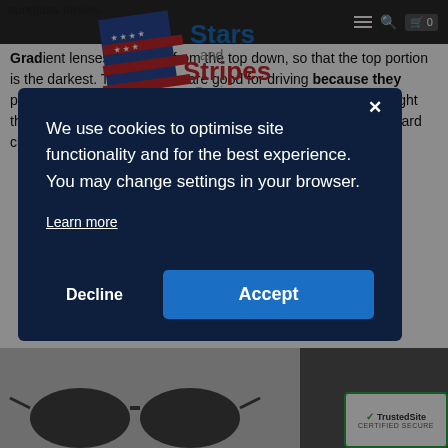sunglass lenses.
[Figure (logo): Stars and Stripes Design logo with American flag graphic]
Gradient lenses graduate from the top down, so that the top portion is the darkest. These lenses are good for driving because they protect your eyes from overwhelming sunlight and allow more light through the bottom half of the lens so you can see your dashboard clearly.
[Figure (screenshot): Cookie consent modal dialog with navy background, 'We use cookies to optimise site functionality and for the best experience. You may change settings in your browser.' text, Learn more link, Decline and Accept buttons]
[Figure (photo): Sunglasses product image at bottom of page with Style label]
[Figure (logo): TrustedSite Certified Secure badge]